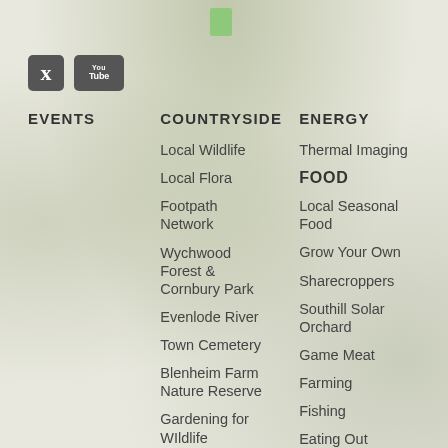[Figure (illustration): Background nature/countryside photo with green and grey tones, with a small green vertical bar at top center]
[Figure (logo): Twitter bird icon (t) in dark square and YouTube logo in dark square]
EVENTS
COUNTRYSIDE
ENERGY
Local Wildlife
Local Flora
Footpath Network
Wychwood Forest & Cornbury Park
Evenlode River
Town Cemetery
Blenheim Farm Nature Reserve
Gardening for Wildlife
Nearby Places to
Thermal Imaging
FOOD
Local Seasonal Food
Grow Your Own
Sharecroppers
Southill Solar Orchard
Game Meat
Farming
Fishing
Eating Out
STUFF